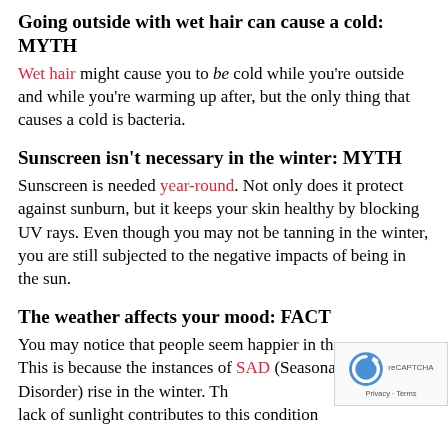Going outside with wet hair can cause a cold: MYTH
Wet hair might cause you to be cold while you're outside and while you're warming up after, but the only thing that causes a cold is bacteria.
Sunscreen isn't necessary in the winter: MYTH
Sunscreen is needed year-round. Not only does it protect against sunburn, but it keeps your skin healthy by blocking UV rays. Even though you may not be tanning in the winter, you are still subjected to the negative impacts of being in the sun.
The weather affects your mood: FACT
You may notice that people seem happier in the summer. This is because the instances of SAD (Seasonal Affective Disorder) rise in the winter. The lack of sunlight contributes to this condition...